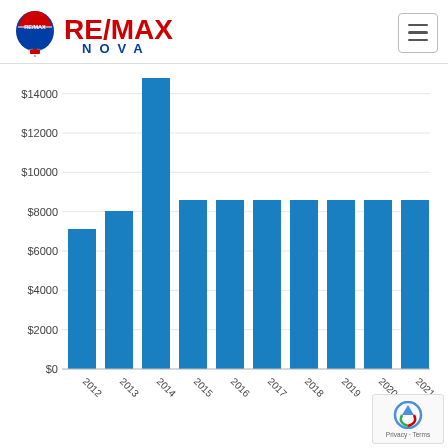RE/MAX NOVA
[Figure (bar-chart): RE/MAX Nova Bar Chart]